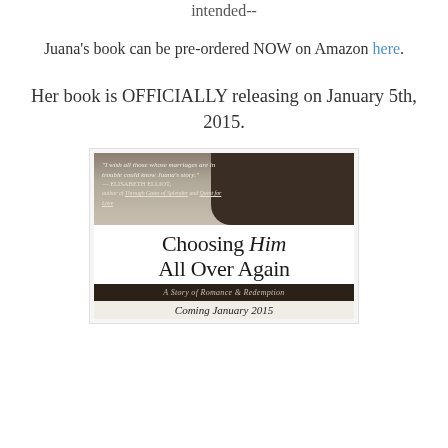intended--
Juana's book can be pre-ordered NOW on Amazon here.
Her book is OFFICIALLY releasing on January 5th, 2015.
[Figure (photo): Book cover of 'Choosing Him All Over Again' by Juana. Features a couple in dark tones at top with a blurb from Elisabeth Elliot: 'I wish all those whose marriages are in trouble could know Juana's story.' Subtitle: 'A Story of Romance & Redemption'. Coming January 2015.]